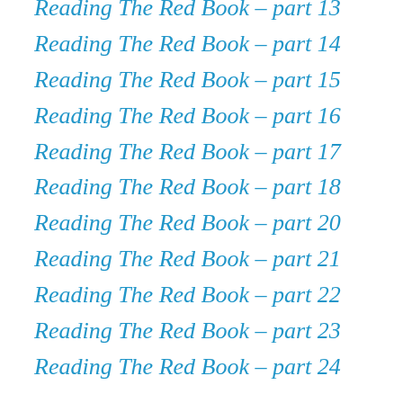Reading The Red Book – part 13
Reading The Red Book – part 14
Reading The Red Book – part 15
Reading The Red Book – part 16
Reading The Red Book – part 17
Reading The Red Book – part 18
Reading The Red Book – part 20
Reading The Red Book – part 21
Reading The Red Book – part 22
Reading The Red Book – part 23
Reading The Red Book – part 24